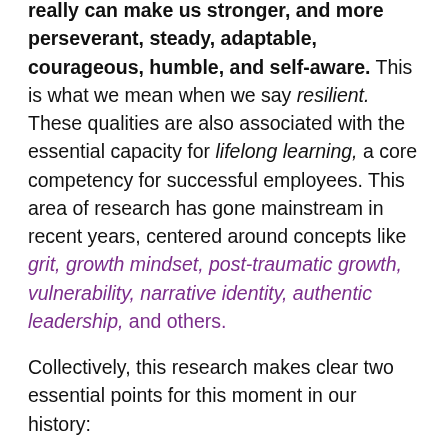really can make us stronger, and more perseverant, steady, adaptable, courageous, humble, and self-aware. This is what we mean when we say resilient. These qualities are also associated with the essential capacity for lifelong learning, a core competency for successful employees. This area of research has gone mainstream in recent years, centered around concepts like grit, growth mindset, post-traumatic growth, vulnerability, narrative identity, authentic leadership, and others.
Collectively, this research makes clear two essential points for this moment in our history:
The human qualities needed to rebuild a more equitable and resilient economy most commonly emerge from overcoming adversity, and
these experiences and the human qualities they